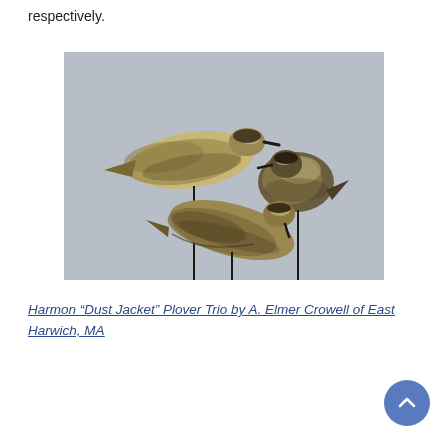respectively.
[Figure (photo): Three bird decoys (shorebirds/plovers) mounted on thin metal sticks against a gray background. The decoys are carved and painted to resemble plovers with speckled brown and tan plumage. One faces left, one faces right, and one is angled downward.]
Harmon “Dust Jacket” Plover Trio by A. Elmer Crowell of East Harwich, MA